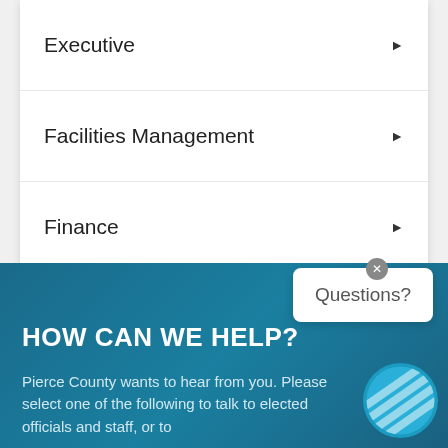Executive ▶
Facilities Management ▶
Finance ▶
County Council
Questions?
HOW CAN WE HELP?
Pierce County wants to hear from you. Please select one of the following to talk to elected officials and staff, or to